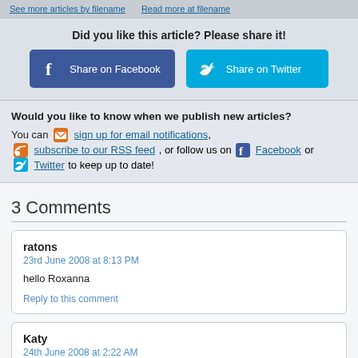See more articles by filename   Read more at filename
Did you like this article? Please share it!
[Figure (infographic): Share on Facebook and Share on Twitter buttons]
Would you like to know when we publish new articles? You can sign up for email notifications, subscribe to our RSS feed, or follow us on Facebook or Twitter to keep up to date!
3 Comments
ratons
23rd June 2008 at 8:13 PM
hello Roxanna
Reply to this comment
Katy
24th June 2008 at 2:22 AM
Hi Roxanne & family